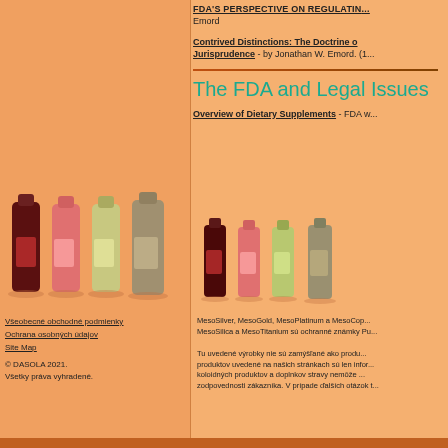FDA'S PERSPECTIVE ON REGULATIN... Emord
Contrived Distinctions: The Doctrine of Jurisprudence - by Jonathan W. Emord. (1...
The FDA and Legal Issues
Overview of Dietary Supplements - FDA w...
[Figure (photo): Four bottles of colloidal mineral supplement products (MesoSilver, MesoGold, MesoPlatinum, MesoCopper) in larger size on left side]
[Figure (photo): Four smaller bottles of colloidal mineral supplement products on right side]
Všeobecné obchodné podmienky
Ochrana osobných údajov
Site Map
© DASOLA 2021. Všetky práva vyhradené.
MesoSilver, MesoGold, MesoPlatinum a MesoCop... MesoSilica a MesoTitanium sú ochranné známky Pu...
Tu uvedené výrobky nie sú zamýšľané ako produ... produktov uvedené na našich stránkach sú len infor... koloidných produktov a doplnkov stravy nemôže ... zodpovednosti zákazníka. V prípade ďalších otázok t...